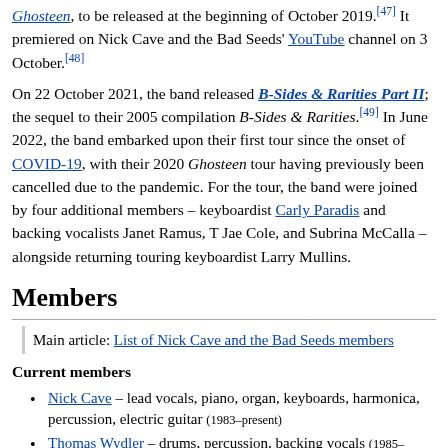Ghosteen, to be released at the beginning of October 2019.[47] It premiered on Nick Cave and the Bad Seeds' YouTube channel on 3 October.[48]
On 22 October 2021, the band released B-Sides & Rarities Part II; the sequel to their 2005 compilation B-Sides & Rarities.[49] In June 2022, the band embarked upon their first tour since the onset of COVID-19, with their 2020 Ghosteen tour having previously been cancelled due to the pandemic. For the tour, the band were joined by four additional members – keyboardist Carly Paradis and backing vocalists Janet Ramus, T Jae Cole, and Subrina McCalla – alongside returning touring keyboardist Larry Mullins.
Members
Main article: List of Nick Cave and the Bad Seeds members
Current members
Nick Cave – lead vocals, piano, organ, keyboards, harmonica, percussion, electric guitar (1983–present)
Thomas Wydler – drums, percussion, backing vocals (1985–present)
Martyn P. Casey – bass guitar, backing vocals (1990–present)